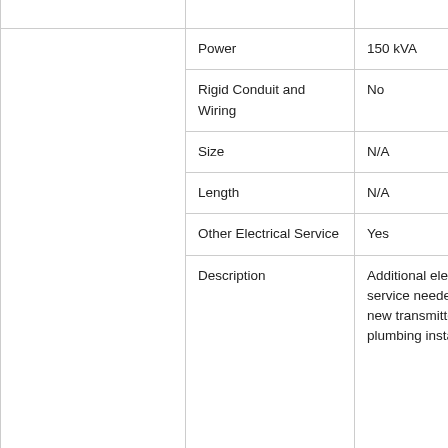|  |  |  |
| --- | --- | --- |
|  | Power | 150 kVA |
|  | Rigid Conduit and Wiring | No |
|  | Size | N/A |
|  | Length | N/A |
|  | Other Electrical Service | Yes |
|  | Description | Additional electrical service needed for the new transmitter and RF plumbing installation. |
| HVAC Service | Does the | No |